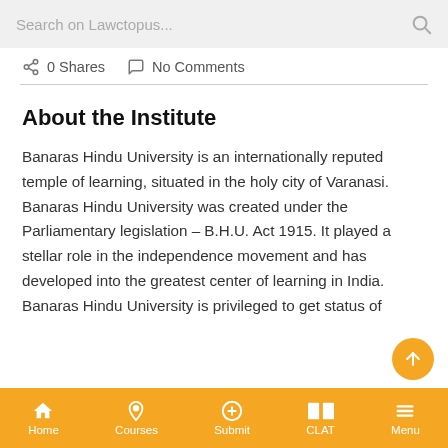Search on Lawctopus...
0 Shares   No Comments
About the Institute
Banaras Hindu University is an internationally reputed temple of learning, situated in the holy city of Varanasi. Banaras Hindu University was created under the Parliamentary legislation – B.H.U. Act 1915. It played a stellar role in the independence movement and has developed into the greatest center of learning in India. Banaras Hindu University is privileged to get status of
Home   Courses   Submit   CLAT   Menu